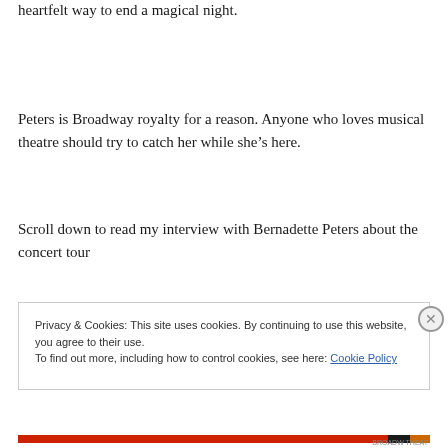heartfelt way to end a magical night.
Peters is Broadway royalty for a reason. Anyone who loves musical theatre should try to catch her while she’s here.
Scroll down to read my interview with Bernadette Peters about the concert tour
Privacy & Cookies: This site uses cookies. By continuing to use this website, you agree to their use.
To find out more, including how to control cookies, see here: Cookie Policy
Close and accept